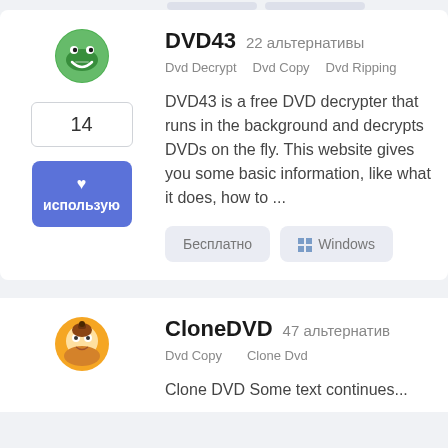DVD43  22 альтернативы
Dvd Decrypt   Dvd Copy   Dvd Ripping
DVD43 is a free DVD decrypter that runs in the background and decrypts DVDs on the fly. This website gives you some basic information, like what it does, how to ...
Бесплатно   Windows
CloneDVD  47 альтернатив
Dvd Copy   Clone Dvd
Clone DVD Some text continues...